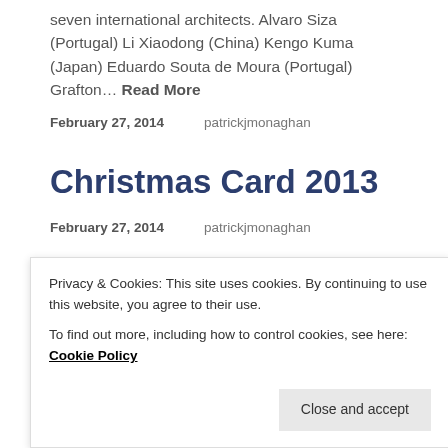seven international architects. Alvaro Siza (Portugal) Li Xiaodong (China) Kengo Kuma (Japan) Eduardo Souta de Moura (Portugal) Grafton… Read More
February 27, 2014    patrickjmonaghan
Christmas Card 2013
February 27, 2014    patrickjmonaghan
Chardonnay & Chimneys
Privacy & Cookies: This site uses cookies. By continuing to use this website, you agree to their use.
To find out more, including how to control cookies, see here: Cookie Policy